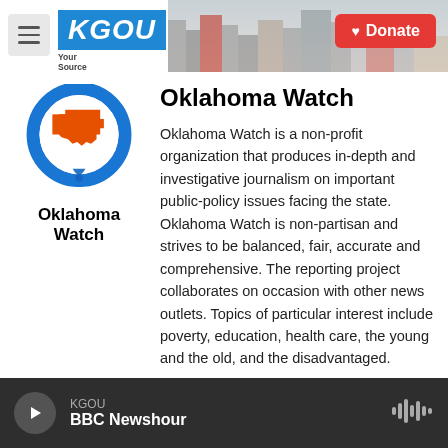[Figure (screenshot): KGOU radio station website header with logo, menu button, city background photo, and red Donate button]
[Figure (logo): Oklahoma Watch logo: blue circle with orange Oklahoma state shape inside, and a blue pin/location marker below, with text 'Oklahoma Watch' beneath]
Oklahoma Watch
Oklahoma Watch is a non-profit organization that produces in-depth and investigative journalism on important public-policy issues facing the state. Oklahoma Watch is non-partisan and strives to be balanced, fair, accurate and comprehensive. The reporting project collaborates on occasion with other news outlets. Topics of particular interest include poverty, education, health care, the young and the old, and the disadvantaged.
KGOU BBC Newshour